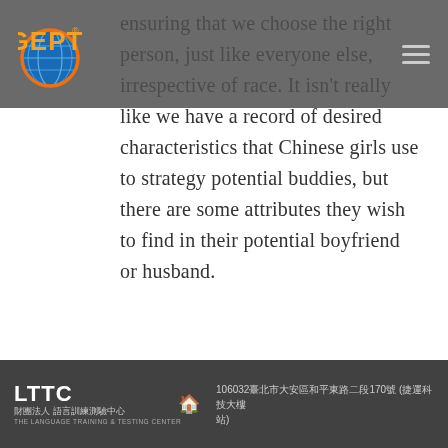GEPT [logo]
ensuring that we choose the right person, just like everyone else, irrespective of race. It isn't really like we have a record of desired characteristics that Chinese girls use to strategy potential buddies, but there are some attributes they wish to find in their potential boyfriend or husband.
LTTC 語言訓練測驗中心 THE LANGUAGE TRAINING & TESTING CENTER  106032臺北市大安區和平東路二段170號 (捷運科技大樓站)